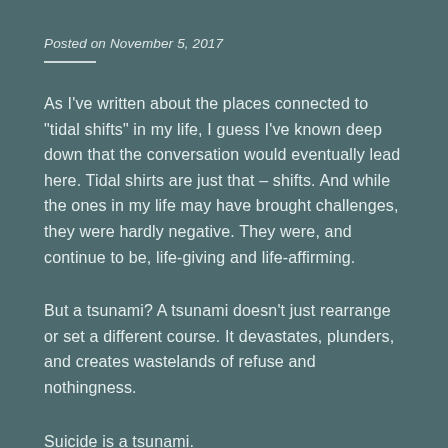Posted on November 5, 2017
As I've written about the places connected to "tidal shifts" in my life, I guess I've known deep down that the conversation would eventually lead here. Tidal shirts are just that – shifts. And while the ones in my life may have brought challenges, they were hardly negative. They were, and continue to be, life-giving and life-affirming.
But a tsunami? A tsunami doesn't just rearrange or set a different course. It devastates, plunders, and creates wastelands of refuse and nothingness.
Suicide is a tsunami.